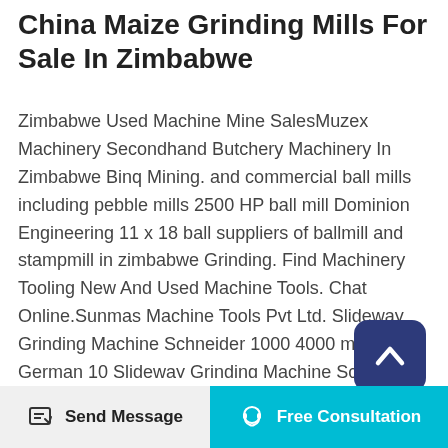China Maize Grinding Mills For Sale In Zimbabwe
Zimbabwe Used Machine Mine SalesMuzex Machinery Secondhand Butchery Machinery In Zimbabwe Binq Mining. and commercial ball mills including pebble mills 2500 HP ball mill Dominion Engineering 11 x 18 ball suppliers of ballmill and stampmill in zimbabwe Grinding. Find Machinery Tooling New And Used Machine Tools. Chat Online.Sunmas Machine Tools Pvt Ltd. Slideway Grinding Machine Schneider 1000 4000 mm German 10 Slideway Grinding Machine Schneider 1000 3000 mm German 11 Cam Milling Machine Kopp Capacity 300 German Following special operations are done with our vendors who are reputed in their respective
[Figure (other): Scroll-to-top button: dark navy rounded square with a white upward chevron icon]
[Figure (other): Bottom action bar with two buttons: 'Send Message' on the left (light gray background, pencil/notepad icon) and 'Free Consultation' on the right (teal background, headset icon)]